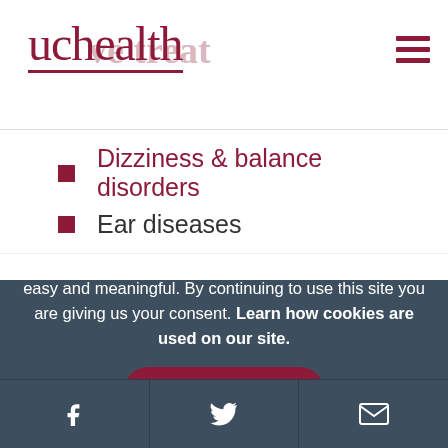uchealth
Dizziness & balance disorders
Ear diseases
Hearing loss
Skull base tumors
Tinnitus
We use cookies to make interactions with our website easy and meaningful. By continuing to use this site you are giving us your consent. Learn how cookies are used on our site.
Accept terms
f  Twitter  Email